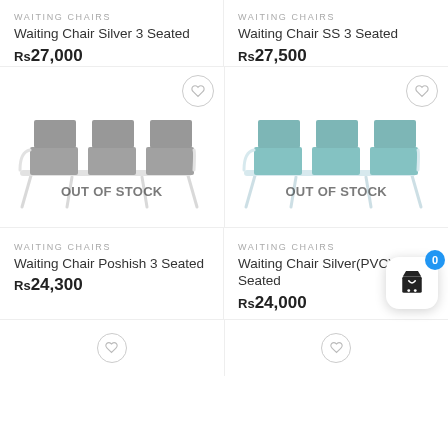WAITING CHAIRS
Waiting Chair Silver 3 Seated
Rs27,000
[Figure (photo): Three-seater waiting chair with dark/black padded seats on silver metal frame. OUT OF STOCK overlay.]
WAITING CHAIRS
Waiting Chair SS 3 Seated
Rs27,500
[Figure (photo): Three-seater waiting chair with teal/green padded seats on silver metal frame. OUT OF STOCK overlay.]
WAITING CHAIRS
Waiting Chair Poshish 3 Seated
Rs24,300
WAITING CHAIRS
Waiting Chair Silver(PVC) 3 Seated
Rs24,000